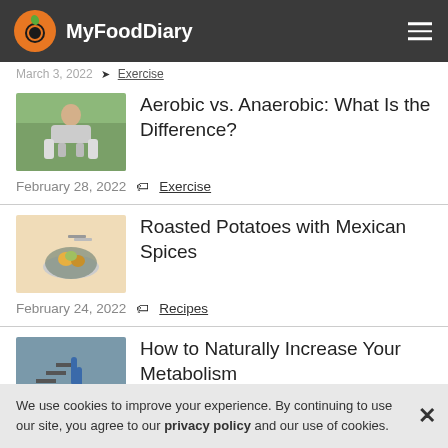MyFoodDiary
March 3, 2022  Exercise
Aerobic vs. Anaerobic: What Is the Difference?
February 28, 2022  Exercise
Roasted Potatoes with Mexican Spices
February 24, 2022  Recipes
How to Naturally Increase Your Metabolism
We use cookies to improve your experience. By continuing to use our site, you agree to our privacy policy and our use of cookies.